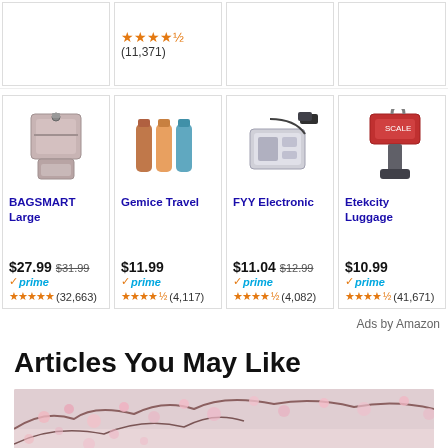[Figure (screenshot): Amazon product ad cards - top partial row showing one card with 4.5 star rating and (11,371) reviews, and three other partially visible cards]
[Figure (screenshot): Amazon product ad cards row with 4 products: BAGSMART Large ($27.99, was $31.99, prime, 4 stars, 32,663 reviews), Gemice Travel ($11.99, prime, 4.5 stars, 4,117 reviews), FYY Electronic ($11.04, was $12.99, prime, 4.5 stars, 4,082 reviews), Etekcity Luggage ($10.99, prime, 4.5 stars, 41,671 reviews)]
Ads by Amazon
Articles You May Like
[Figure (photo): Cherry blossom tree photo, pink flowers, partially visible at bottom of page]